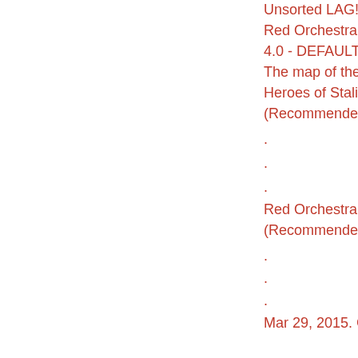Unsorted LAG! A: Gr
Red Orchestra 2 Her
4.0 - DEFAULT
The map of the game
Heroes of Stalingrad
(Recommended) - Vi
.
.
.
Red Orchestra 2 Her
(Recommended) - Vi
.
.
.
Mar 29, 2015. Crack
Red Orchestra 2 Her
4.0 - DEFAULT
The map of the game
Heroes of Stalingrad
(Recommended) - Vi
.
.